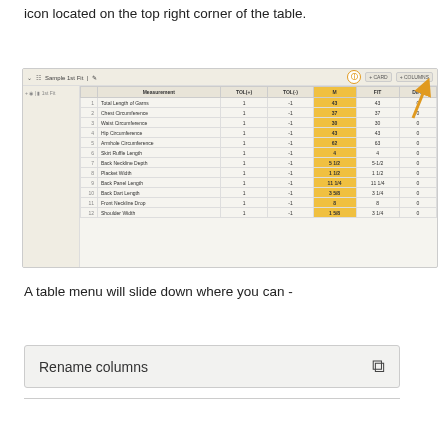You can customize your setting table by clicking on this icon located on the top right corner of the table.
[Figure (screenshot): Screenshot of a fitting table called 'Sample 1st Fit' with columns Measurement, TOL(+), TOL(-), M, FIT, DIFF. Rows include measurements like Total Length of Garns, Chest Circumference, Waist Circumference, Hip Circumference, Armhole Circumference, Skirt Ruffle Length, Back Neckline Depth, Placket Width, Back Panel Length, Back Dart Length, Front Neckline Drop, Shoulder Width. An orange arrow points to a circled icon in the top right of the table.]
A table menu will slide down where you can -
| Rename columns |  |
| --- | --- |